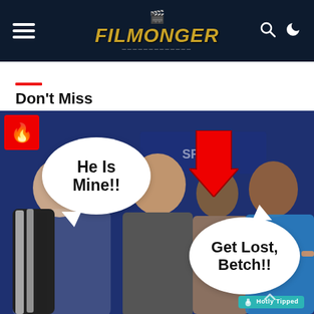Filmonger
Don't Miss
[Figure (photo): Photo of Spider-Man cast members in an interview setting with meme-style speech bubbles: one person labeled 'He Is Mine!!' with a red arrow pointing down at a central male figure, and another bubble 'Get Lost, Betch!!' coming from a person on the right. Red fire badge top-left, Filmonger watermark bottom-right.]